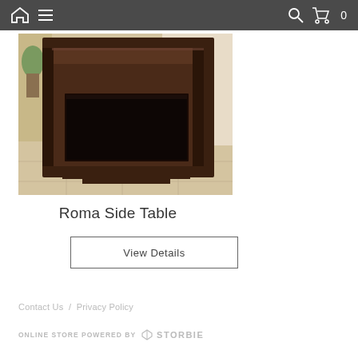Navigation bar with home icon, menu, search, and cart (0)
[Figure (photo): Photo of a dark espresso brown Roma Side Table with a rectangular open shelf cutout, shown on a light tile floor with a plant in the background]
Roma Side Table
View Details
Contact Us / Privacy Policy
ONLINE STORE POWERED BY STORBIE